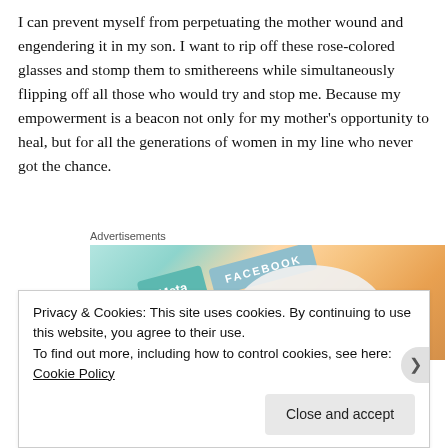I can prevent myself from perpetuating the mother wound and engendering it in my son. I want to rip off these rose-colored glasses and stomp them to smithereens while simultaneously flipping off all those who would try and stop me. Because my empowerment is a beacon not only for my mother's opportunity to heal, but for all the generations of women in my line who never got the chance.
Advertisements
[Figure (other): Advertisement image for a WordPress CMS product, showing overlapping social media brand tiles (Meta, Facebook) and a circular overlay with text 'We're the WordPress CMS for Very...']
Privacy & Cookies: This site uses cookies. By continuing to use this website, you agree to their use.
To find out more, including how to control cookies, see here: Cookie Policy
Close and accept